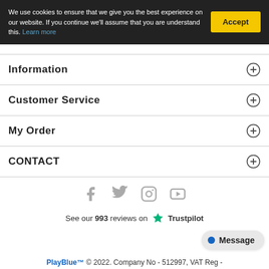We use cookies to ensure that we give you the best experience on our website. If you continue we'll assume that you are understand this. Learn more
Information
Customer Service
My Order
CONTACT
[Figure (illustration): Social media icons: Facebook, Twitter, Instagram, YouTube]
See our 993 reviews on Trustpilot
Message
PlayBlue™ © 2022. Company No - 512997, VAT Reg -